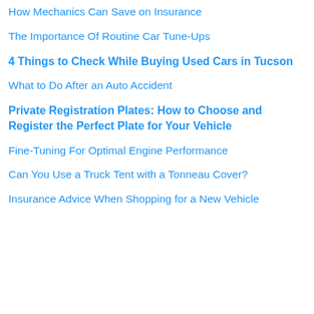How Mechanics Can Save on Insurance
The Importance Of Routine Car Tune-Ups
4 Things to Check While Buying Used Cars in Tucson
What to Do After an Auto Accident
Private Registration Plates: How to Choose and Register the Perfect Plate for Your Vehicle
Fine-Tuning For Optimal Engine Performance
Can You Use a Truck Tent with a Tonneau Cover?
Insurance Advice When Shopping for a New Vehicle